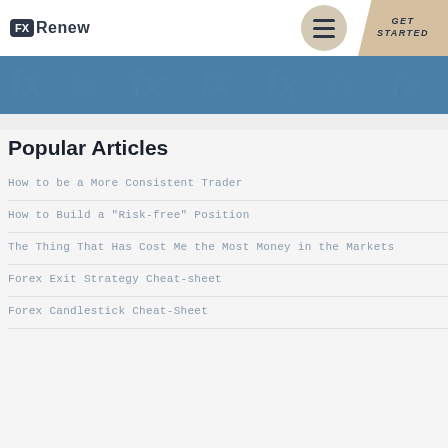FX Renew | GET STARTED
[Figure (other): Blue decorative banner with subtle repeating FX Renew watermark pattern]
Popular Articles
How to be a More Consistent Trader
How to Build a "Risk-free" Position
The Thing That Has Cost Me the Most Money in the Markets
Forex Exit Strategy Cheat-sheet
Forex Candlestick Cheat-Sheet